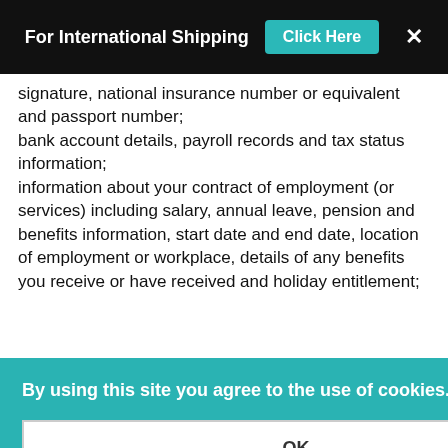For International Shipping  Click Here  ×
signature, national insurance number or equivalent and passport number;
bank account details, payroll records and tax status information;
information about your contract of employment (or services) including salary, annual leave, pension and benefits information, start date and end date, location of employment or workplace, details of any benefits you receive or have received and holiday entitlement;
the ...o titles, ...ork ...ords, ...ance and behaviour at work, records of disciplinary and grievance
By using this site you agree to the use of cookies.
OK